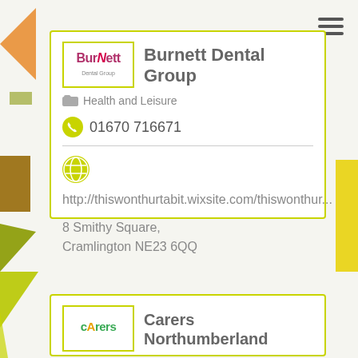[Figure (logo): Burnett Dental Group logo - text based logo with stylized letter]
Burnett Dental Group
Health and Leisure
01670 716671
http://thiswonthurtabit.wixsite.com/thiswonthur...
8 Smithy Square, Cramlington NE23 6QQ
[Figure (logo): Carers Northumberland logo - green text with stylized letter]
Carers Northumberland
Health and Leisure